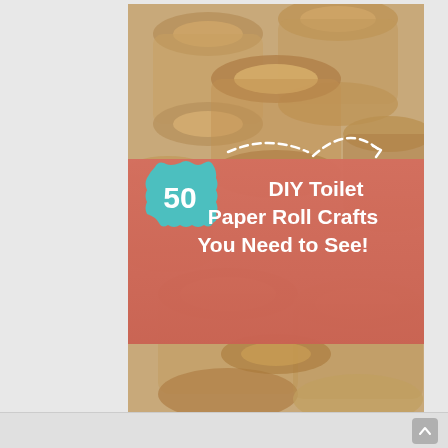[Figure (photo): A pile of empty cardboard toilet paper roll tubes (brown kraft paper cylinders), viewed from above, filling the entire image background. Over the photo is a salmon/coral semi-transparent horizontal banner reading '50 DIY Toilet Paper Roll Crafts You Need to See!' with a teal scalloped badge showing the number '50' and white dashed curved lines at the top right.]
50 DIY Toilet Paper Roll Crafts You Need to See!